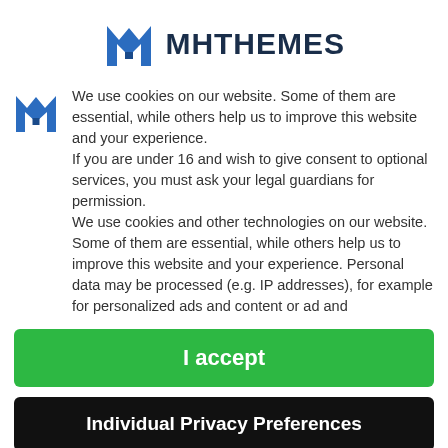[Figure (logo): MHThemes logo with blue M icon and bold dark text reading MHTHEMES]
We use cookies on our website. Some of them are essential, while others help us to improve this website and your experience.
If you are under 16 and wish to give consent to optional services, you must ask your legal guardians for permission.
We use cookies and other technologies on our website. Some of them are essential, while others help us to improve this website and your experience. Personal data may be processed (e.g. IP addresses), for example for personalized ads and content or ad and
I accept
Individual Privacy Preferences